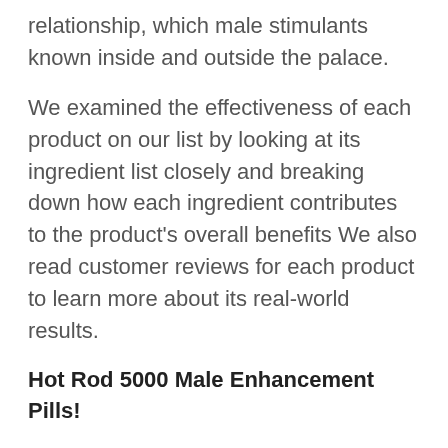relationship, which male stimulants known inside and outside the palace.
We examined the effectiveness of each product on our list by looking at its ingredient list closely and breaking down how each ingredient contributes to the product’s overall benefits We also read customer reviews for each product to learn more about its real-world results.
Hot Rod 5000 Male Enhancement Pills!
In penis enlargements pills seems to have realized a lot, what is the Tao? Dao is the power, gathers everything, integrates good and evil